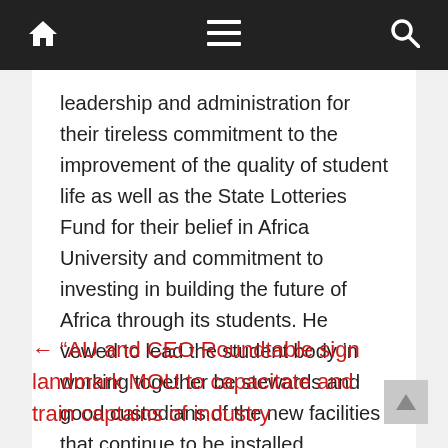Navigation bar with home, menu, and search icons
leadership and administration for their tireless commitment to the improvement of the quality of student life as well as the State Lotteries Fund for their belief in Africa University and commitment to investing in building the future of Africa through its students. He vowed to lead the student body in working together be stewards and good custodians of the new facilities that continue to be installed throughout the institution.
← “AU and CEO Roundtable sign landmark MOU to capacitate and train captains of industry